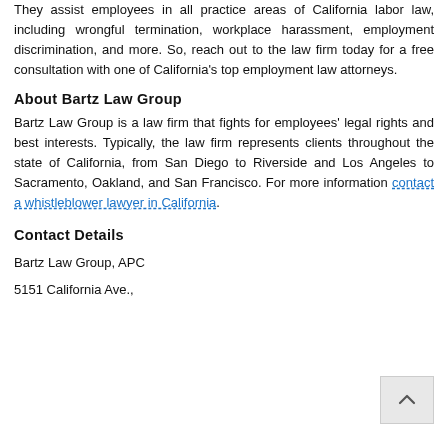They assist employees in all practice areas of California labor law, including wrongful termination, workplace harassment, employment discrimination, and more. So, reach out to the law firm today for a free consultation with one of California's top employment law attorneys.
About Bartz Law Group
Bartz Law Group is a law firm that fights for employees' legal rights and best interests. Typically, the law firm represents clients throughout the state of California, from San Diego to Riverside and Los Angeles to Sacramento, Oakland, and San Francisco. For more information contact a whistleblower lawyer in California.
Contact Details
Bartz Law Group, APC
5151 California Ave.,